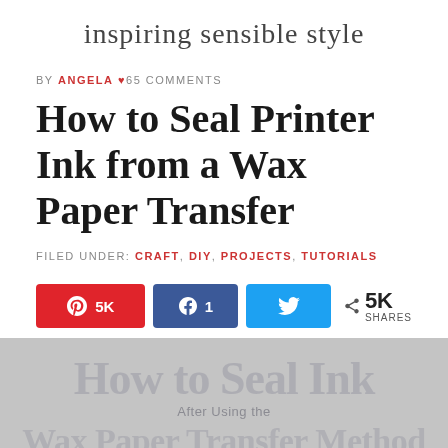inspiring sensible style
BY ANGELA ♥ 65 COMMENTS
How to Seal Printer Ink from a Wax Paper Transfer
FILED UNDER: CRAFT, DIY, PROJECTS, TUTORIALS
[Figure (infographic): Social share buttons: Pinterest 5K, Facebook 1, Twitter (no count), and total 5K SHARES]
[Figure (infographic): Partially visible image overlay with text 'How to Seal Ink', 'After Using the', 'Wax Paper Transfer Method' on a grey background]